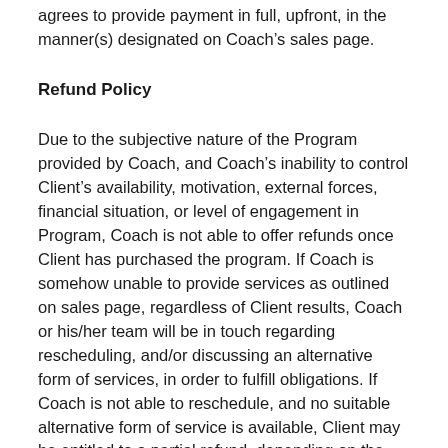agrees to provide payment in full, upfront, in the manner(s) designated on Coach’s sales page.
Refund Policy
Due to the subjective nature of the Program provided by Coach, and Coach’s inability to control Client’s availability, motivation, external forces, financial situation, or level of engagement in Program, Coach is not able to offer refunds once Client has purchased the program. If Coach is somehow unable to provide services as outlined on sales page, regardless of Client results, Coach or his/her team will be in touch regarding rescheduling, and/or discussing an alternative form of services, in order to fulfill obligations. If Coach is not able to reschedule, and no suitable alternative form of service is available, Client may be entitled to a partial refund, depending on the amount of work Coach and Client were able to